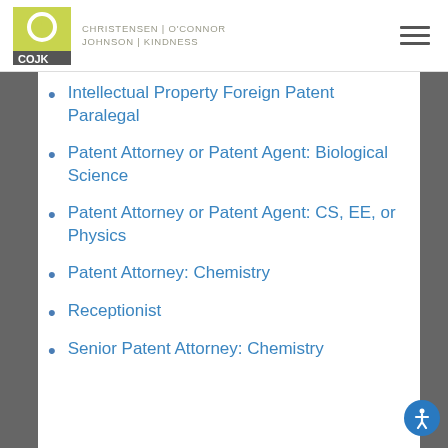CHRISTENSEN | O'CONNOR JOHNSON | KINDNESS
Intellectual Property Foreign Patent Paralegal
Patent Attorney or Patent Agent: Biological Science
Patent Attorney or Patent Agent: CS, EE, or Physics
Patent Attorney: Chemistry
Receptionist
Senior Patent Attorney: Chemistry